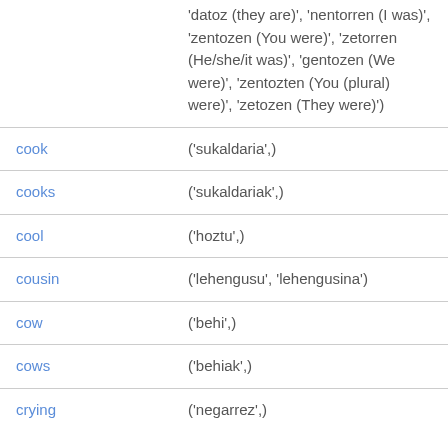| English | Basque |
| --- | --- |
|  | 'datoz (they are)', 'nentorren (I was)', 'zentozen (You were)', 'zetorren (He/she/it was)', 'gentozen (We were)', 'zentozten (You (plural) were)', 'zetozen (They were)') |
| cook | ('sukaldaria',) |
| cooks | ('sukaldariak',) |
| cool | ('hoztu',) |
| cousin | ('lehengusu', 'lehengusina') |
| cow | ('behi',) |
| cows | ('behiak',) |
| crying | ('negarrez',) |